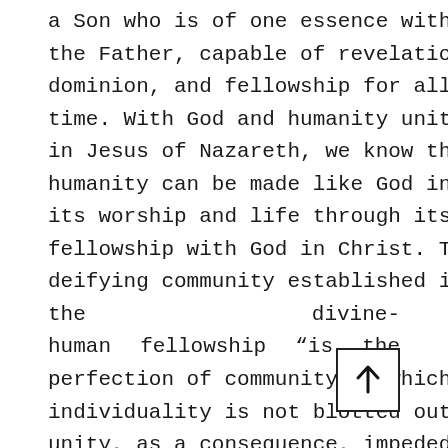a Son who is of one essence with the Father, capable of revelation, dominion, and fellowship for all time. With God and humanity united in Jesus of Nazareth, we know that humanity can be made like God in its worship and life through its fellowship with God in Christ. The deifying community established in the divine-human fellowship "is the perfection of community in which individuality is not blotted out, or unity, as a consequence, impeded." (248) Orthodox teaching demands an egalitarian society wherein individuals are freed from the of competition. The attack on the
[Figure (other): An upward-pointing arrow inside a square box, located in the lower right of the page]